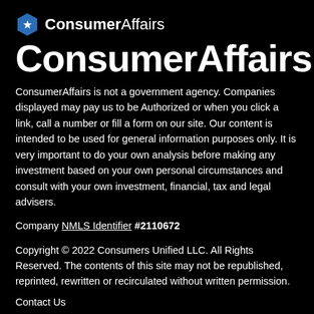ConsumerAffairs
ConsumerAffairs
ConsumerAffairs is not a government agency. Companies displayed may pay us to be Authorized or when you click a link, call a number or fill a form on our site. Our content is intended to be used for general information purposes only. It is very important to do your own analysis before making any investment based on your own personal circumstances and consult with your own investment, financial, tax and legal advisers.
Company NMLS Identifier #2110672
Copyright © 2022 Consumers Unified LLC. All Rights Reserved. The contents of this site may not be republished, reprinted, rewritten or recirculated without written permission.
Contact Us